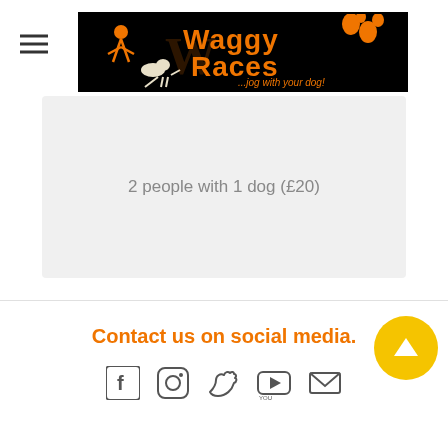[Figure (logo): Waggy Races logo — black background with orange illustrated text 'Waggy Races' and tagline '...jog with your dog!' with cartoon person running with dog and paw print graphics]
2 people with 1 dog (£20)
Contact us on social media.
[Figure (infographic): Row of five social media icons: Facebook (f), Instagram (camera), Twitter (bird), YouTube (play button), Email (envelope)]